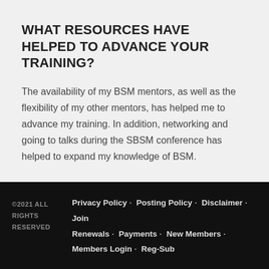WHAT RESOURCES HAVE HELPED TO ADVANCE YOUR TRAINING?
The availability of my BSM mentors, as well as the flexibility of my other mentors, has helped me to advance my training. In addition, networking and going to talks during the SBSM conference has helped to expand my knowledge of BSM.
©2021 ALL RIGHTS RESERVED  Privacy Policy · Posting Policy · Disclaimer · Join Renewals · Payments · New Members · Members Login · Reg-Sub